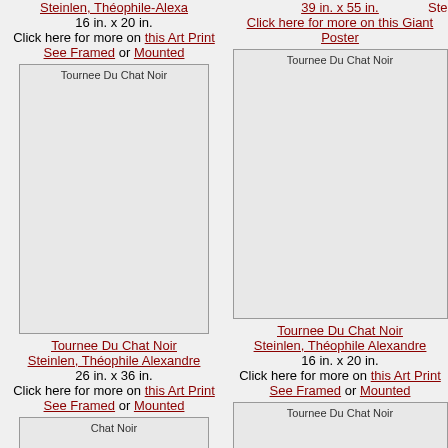Steinlen, Théophile-Alexa
16 in. x 20 in.
Click here for more on this Art Print
See Framed or Mounted
39 in. x 55 in.
Click here for more on this Giant Poster
[Figure (photo): Placeholder image for Tournee Du Chat Noir, left column]
Tournee Du Chat Noir
Steinlen, Théophile Alexandre
26 in. x 36 in.
Click here for more on this Art Print
See Framed or Mounted
[Figure (photo): Placeholder image for Tournee Du Chat Noir, right column]
Tournee Du Chat Noir
Steinlen, Théophile Alexandre
16 in. x 20 in.
Click here for more on this Art Print
See Framed or Mounted
[Figure (photo): Placeholder image for Chat Noir, left column]
Chat Noir
6 in. x 8 in.
Click here for more on this Art
[Figure (photo): Placeholder image for Tournee Du Chat Noir, right column bottom]
Tournee Du Chat Noir
Steinlen, Théophile Alexandre
8 in. x 10 in.